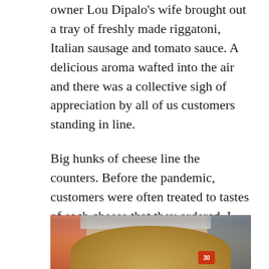owner Lou Dipalo's wife brought out a tray of freshly made riggatoni, Italian sausage and tomato sauce. A delicious aroma wafted into the air and there was a collective sigh of appreciation by all of us customers standing in line.
Big hunks of cheese line the counters. Before the pandemic, customers were often treated to tastes of each cheese that they ordered. I ordered my usual; parmesan reggianno and freshly grated pecorino.
[Figure (photo): A large mound of freshly grated cheese (parmesan or pecorino) piled high on a counter in a deli/cheese shop, with store background visible including shelves and a sign with the number 30.]